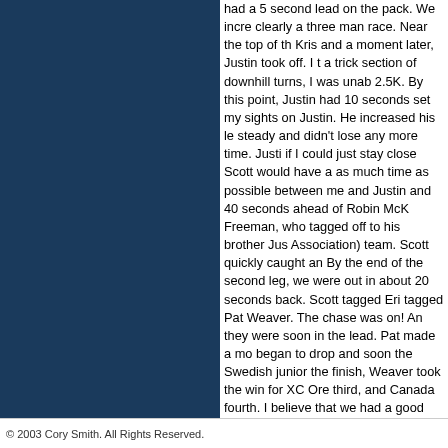had a 5 second lead on the pack. We incre clearly a three man race. Near the top of th Kris and a moment later, Justin took off. I t a trick section of downhill turns, I was unab 2.5K. By this point, Justin had 10 seconds set my sights on Justin. He increased his le steady and didn't lose any more time. Justi if I could just stay close Scott would have a as much time as possible between me and Justin and 40 seconds ahead of Robin McK Freeman, who tagged off to his brother Jus Association) team. Scott quickly caught an By the end of the second leg, we were out in about 20 seconds back. Scott tagged Eri tagged Pat Weaver. The chase was on! An they were soon in the lead. Pat made a mo began to drop and soon the Swedish junior the finish, Weaver took the win for XC Ore third, and Canada fourth. I believe that we had a good race at Spring Series and ende race, Jen Douglas performed another one Canada 1 and Canada 2, to help her team Canada 2 took second, and Dartmouth (Ab since this was the "National Club Relay Ch offical U.S. clubs, Dartmouth won the Natio Barb, Ruff, Cami, and the whole team!
Well the season is over. NOW, ON TO MO.
© 2003 Cory Smith. All Rights Reserved.